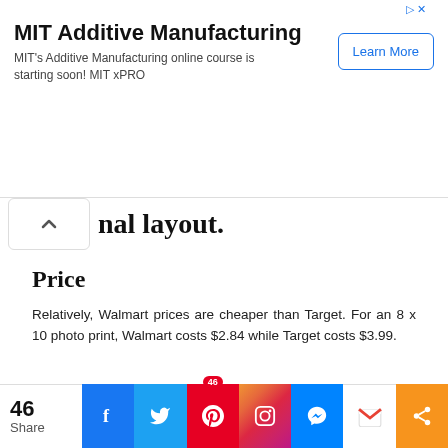[Figure (screenshot): MIT Additive Manufacturing advertisement banner with 'Learn More' button]
nal layout.
Price
Relatively, Walmart prices are cheaper than Target. For an 8 x 10 photo print, Walmart costs $2.84 while Target costs $3.99.
Here is a side-by-side comparison of Walmart and Target Photo print sizes.
[Figure (screenshot): Social media share bar with Facebook, Twitter, Pinterest, Instagram, Messenger, Gmail, and share buttons showing 46 shares]